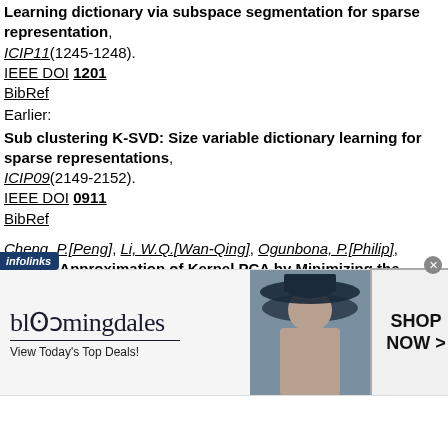Learning dictionary via subspace segmentation for sparse representation, ICIP11(1245-1248). IEEE DOI 1201 BibRef Earlier: Sub clustering K-SVD: Size variable dictionary learning for sparse representations, ICIP09(2149-2152). IEEE DOI 0911 BibRef
Cheng, P.[Peng], Li, W.Q.[Wan-Qing], Ogunbona, P.[Philip], Greedy Approximation of Kernel PCA by Minimizing the Mapping Error, DICTA09(303-308). IEEE DOI 0912 BibRef
[Figure (other): Bloomingdale's advertisement banner with woman in hat, 'SHOP NOW >' button, 'View Today's Top Deals!' tagline. Infolinks tab in bottom left corner.]